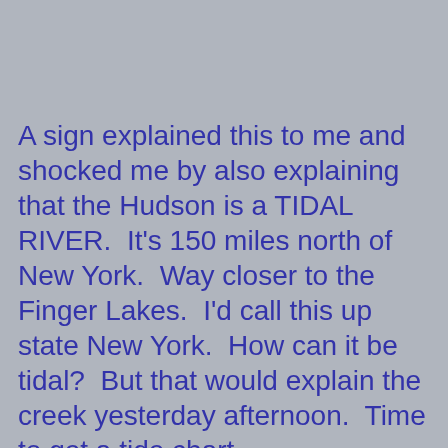A sign explained this to me and shocked me by also explaining that the Hudson is a TIDAL RIVER.  It's 150 miles north of New York.  Way closer to the Finger Lakes.  I'd call this up state New York.  How can it be tidal?  But that would explain the creek yesterday afternoon.  Time to get a tide chart.